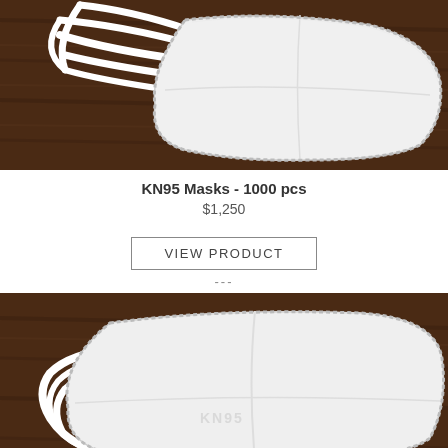[Figure (photo): Photo of KN95 masks with white ear loops on a dark wooden surface, top view showing multiple masks stacked.]
KN95 Masks - 1000 pcs
$1,250
VIEW PRODUCT
---
[Figure (photo): Photo of a single KN95 mask with white ear straps on a dark wooden surface, front view showing KN95 label.]